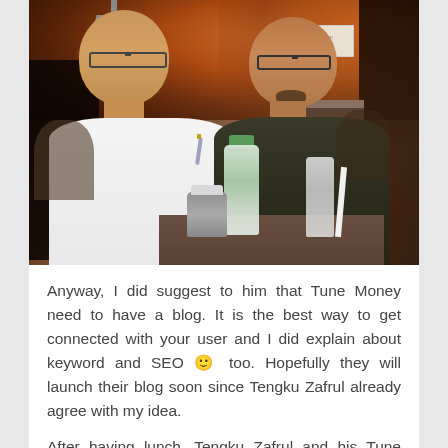[Figure (photo): Two men posing together at a restaurant. The man on the left wears a white shirt and glasses, smiling. The man on the right wears a dark shirt and glasses. There is a water bottle and cups/mugs on the table in front of them. The restaurant has warm amber lighting with a pendant lamp visible in the background.]
Anyway, I did suggest to him that Tune Money need to have a blog. It is the best way to get connected with your user and I did explain about keyword and SEO 🙂 too. Hopefully they will launch their blog soon since Tengku Zafrul already agree with my idea.
After having lunch, Tengku Zafrul and his Tune Money